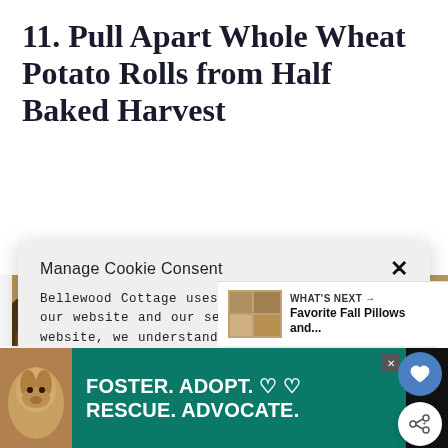11. Pull Apart Whole Wheat Potato Rolls from Half Baked Harvest
Manage Cookie Consent
Bellewood Cottage uses cookies to optimize our website and our service. By using our website, we understand that you accept their use and agree to our privacy policy.
ACCEPT
Privacy Policy   Privacy Policy
[Figure (photo): Close-up photo of golden-brown whole wheat pull-apart potato rolls with herbs on top]
[Figure (screenshot): Bottom advertisement banner: black background with dog photo on left, teal background with white text reading FOSTER. ADOPT. RESCUE. ADVOCATE. with heart symbols]
WHAT'S NEXT → Favorite Fall Pillows and...